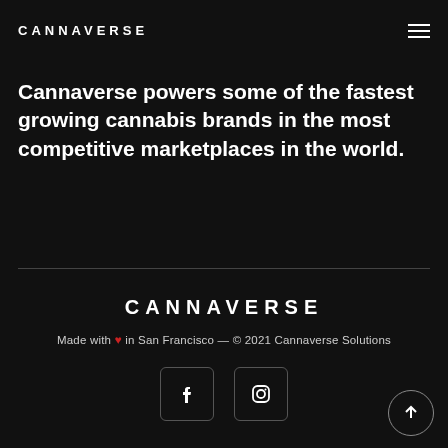CANNAVERSE
Cannaverse powers some of the fastest growing cannabis brands in the most competitive marketplaces in the world.
CANNAVERSE
Made with ♥ in San Francisco — © 2021 Cannaverse Solutions
[Figure (other): Facebook icon button (rounded square border with letter f)]
[Figure (other): Instagram icon button (rounded square border with camera circle icon)]
[Figure (other): Scroll-to-top circular button with upward arrow]